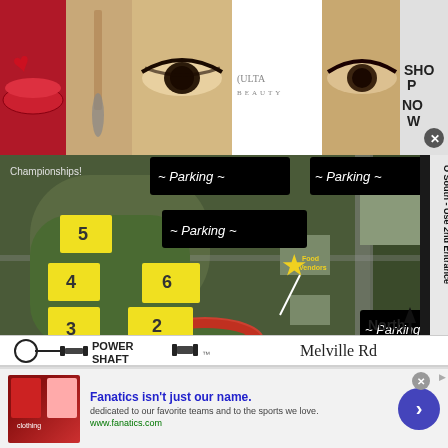[Figure (photo): Ulta Beauty advertisement banner with makeup imagery: red lips, makeup brush, eye close-up, ULTA Beauty logo, another eye close-up, and SHOP NOW call to action button]
[Figure (map): Aerial satellite map showing a sports complex with numbered fields (1-6) marked in yellow, parking areas labeled with tilde signs, food vendors marked with a star, North arrow compass indicator, 'O South - Use 2nd Entrance' text, and Melville Rd label. PowerShaft logo appears at bottom left of map.]
[Figure (photo): Fanatics advertisement: Shows clothing photos on left, bold text 'Fanatics isn't just our name.' in blue, subtext 'dedicated to our favorite teams and to the sports we love.' and URL www.fanatics.com, with a blue arrow button on right]